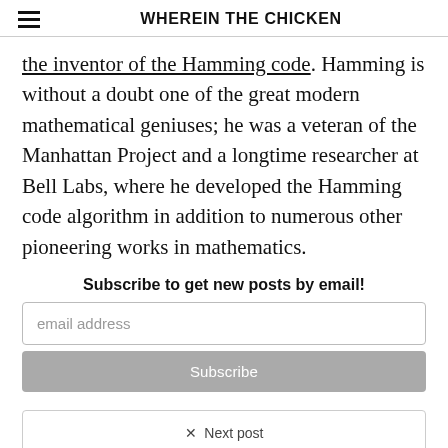WHEREIN THE CHICKEN
the inventor of the Hamming code. Hamming is without a doubt one of the great modern mathematical geniuses; he was a veteran of the Manhattan Project and a longtime researcher at Bell Labs, where he developed the Hamming code algorithm in addition to numerous other pioneering works in mathematics.
Subscribe to get new posts by email!
Next post
Easily Add LaTeX Support To Jekyll